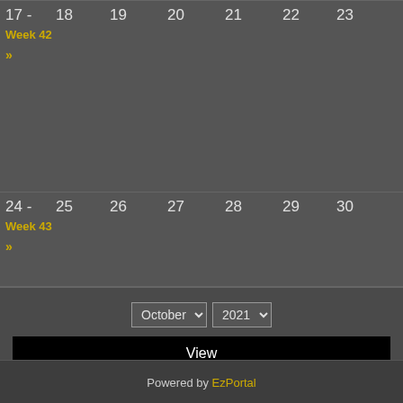[Figure (screenshot): Partial calendar view showing October 2021 weeks 42-44 with days 17-31, footer with month/year selectors and View button, and Powered by EzPortal footer.]
17 - Week 42
18
19
20
21
22
23
24 - Week 43
25
26
27
28
29
30
31 - Week 44
October 2021
View
Powered by EzPortal